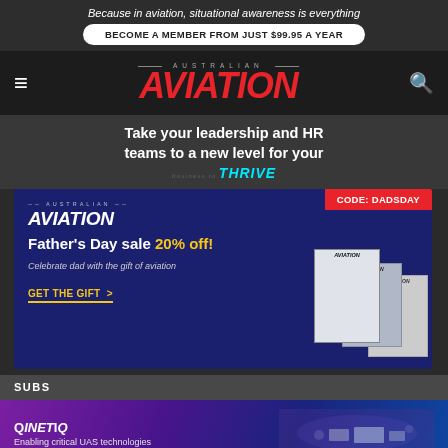Because in aviation, situational awareness is everything
BECOME A MEMBER FROM JUST $99.95 A YEAR
[Figure (logo): Australian Aviation magazine logo with red italic AVIATION text and AUSTRALIAN above in small caps]
Take your leadership and HR teams to a new level for your business to THRIVE
[Figure (infographic): Australian Aviation Father's Day sale advertisement. Dark blue background with CODE: DADSDAY badge. Logo, headline 'Father's Day sale 20% off!', subtext 'Celebrate dad with the gift of aviation', CTA 'GET THE GIFT >', and magazine stack imagery on right.]
SUBS
[Figure (infographic): QinetIQ advertisement with purple gradient background, logo and text 'Enabling critical UAS technologies', with drone/UAS imagery on right]